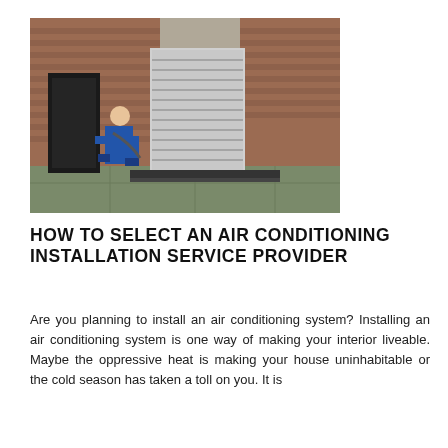[Figure (photo): A technician in a blue jumpsuit crouching beside a large industrial HVAC/air conditioning unit mounted on a concrete pad against a brick wall exterior.]
HOW TO SELECT AN AIR CONDITIONING INSTALLATION SERVICE PROVIDER
Are you planning to install an air conditioning system? Installing an air conditioning system is one way of making your interior liveable. Maybe the oppressive heat is making your house uninhabitable or the cold season has taken a toll on you. It is